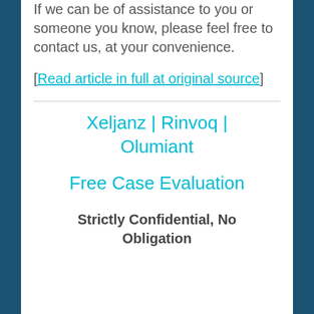If we can be of assistance to you or someone you know, please feel free to contact us, at your convenience.
[Read article in full at original source]
Xeljanz | Rinvoq | Olumiant
Free Case Evaluation
Strictly Confidential, No Obligation